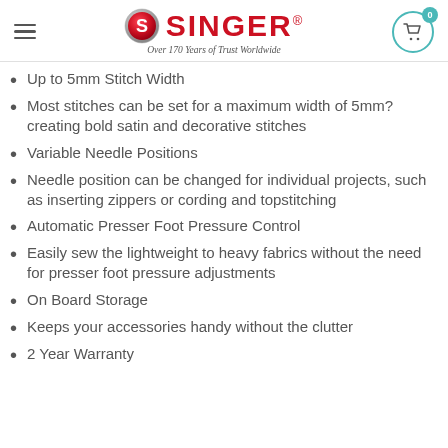SINGER — Over 170 Years of Trust Worldwide
Up to 5mm Stitch Width
Most stitches can be set for a maximum width of 5mm?creating bold satin and decorative stitches
Variable Needle Positions
Needle position can be changed for individual projects, such as inserting zippers or cording and topstitching
Automatic Presser Foot Pressure Control
Easily sew the lightweight to heavy fabrics without the need for presser foot pressure adjustments
On Board Storage
Keeps your accessories handy without the clutter
2 Year Warranty